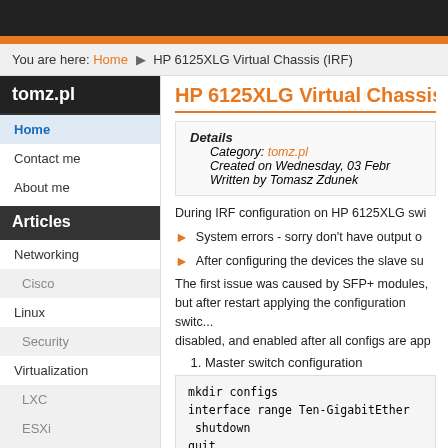tomz.pl
You are here: Home ▶ HP 6125XLG Virtual Chassis (IRF)
HP 6125XLG Virtual Chassis (
Details
Category: tomz.pl
Created on Wednesday, 03 Febr...
Written by Tomasz Zdunek
During IRF configuration on HP 6125XLG swi...
System errors - sorry don't have output o...
After configuring the devices the slave su...
The first issue was caused by SFP+ modules, but after restart applying the configuration switch disabled, and enabled after all configs are app...
1. Master switch configuration
mkdir configs
interface range Ten-GigabitEther...
 shutdown
quit